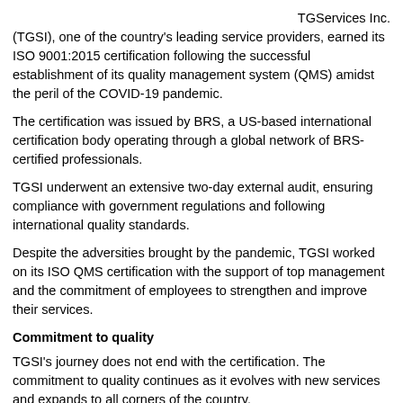TGServices Inc. (TGSI), one of the country's leading service providers, earned its ISO 9001:2015 certification following the successful establishment of its quality management system (QMS) amidst the peril of the COVID-19 pandemic.
The certification was issued by BRS, a US-based international certification body operating through a global network of BRS-certified professionals.
TGSI underwent an extensive two-day external audit, ensuring compliance with government regulations and following international quality standards.
Despite the adversities brought by the pandemic, TGSI worked on its ISO QMS certification with the support of top management and the commitment of employees to strengthen and improve their services.
Commitment to quality
TGSI's journey does not end with the certification. The commitment to quality continues as it evolves with new services and expands to all corners of the country.
The business processes and support services strive for continuous improvement through periodic internal compliance audits, risk assessment and management, business continuity planning and operational control, performance evaluation, customer satisfaction surveys and intensive